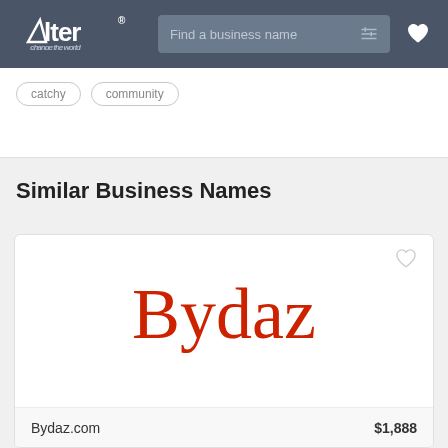[Figure (screenshot): Alter website header with logo, search bar 'Find a business name', filter icon, and heart icon on dark gray background]
catchy   community
Similar Business Names
[Figure (screenshot): Business name card showing 'Bydaz' in large red serif font with a heart icon, listing Bydaz.com for $1,888]